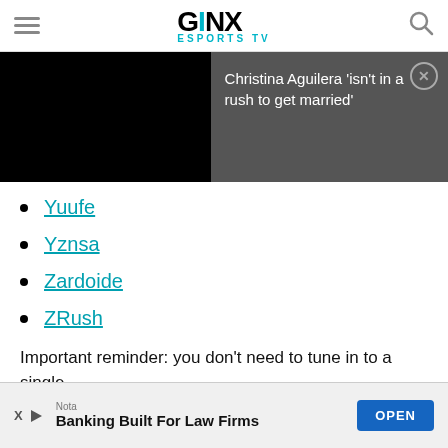GINX ESPORTS TV
[Figure (screenshot): Black video player area on the left, dark gray notification overlay on the right with text: Christina Aguilera 'isn't in a rush to get married' and a close button]
Yuufe
Yznsa
Zardoide
ZRush
Important reminder: you don't need to tune in to a single
[Figure (screenshot): Bottom advertisement banner: Nota - Banking Built For Law Firms with OPEN button]